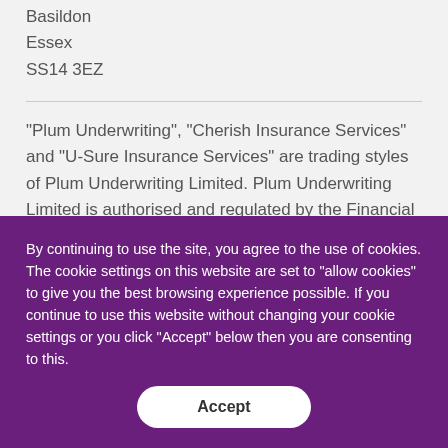Basildon
Essex
SS14 3EZ
"Plum Underwriting", "Cherish Insurance Services" and "U-Sure Insurance Services" are trading styles of Plum Underwriting Limited. Plum Underwriting Limited is authorised and regulated by the Financial Conduct
By continuing to use the site, you agree to the use of cookies. The cookie settings on this website are set to "allow cookies" to give you the best browsing experience possible. If you continue to use this website without changing your cookie settings or you click "Accept" below then you are consenting to this.
Accept